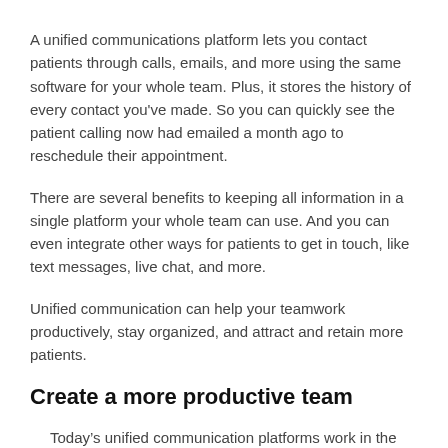A unified communications platform lets you contact patients through calls, emails, and more using the same software for your whole team. Plus, it stores the history of every contact you've made. So you can quickly see the patient calling now had emailed a month ago to reschedule their appointment.
There are several benefits to keeping all information in a single platform your whole team can use. And you can even integrate other ways for patients to get in touch, like text messages, live chat, and more.
Unified communication can help your teamwork productively, stay organized, and attract and retain more patients.
Create a more productive team
Today’s unified communication platforms work in the cloud. Instead of an on-premise system of phones and computers, you can log into the software from any device.